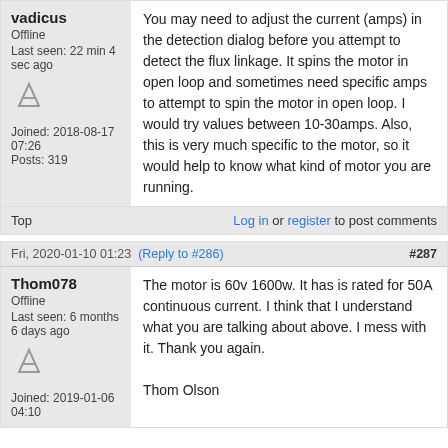vadicus
Offline
Last seen: 22 min 4 sec ago
Joined: 2018-08-17 07:26
Posts: 319
You may need to adjust the current (amps) in the detection dialog before you attempt to detect the flux linkage. It spins the motor in open loop and sometimes need specific amps to attempt to spin the motor in open loop. I would try values between 10-30amps. Also, this is very much specific to the motor, so it would help to know what kind of motor you are running.
Top
Log in or register to post comments
Fri, 2020-01-10 01:23  (Reply to #286)  #287
Thom078
Offline
Last seen: 6 months 6 days ago
Joined: 2019-01-06 04:10
The motor is 60v 1600w. It has is rated for 50A continuous current. I think that I understand what you are talking about above. I mess with it. Thank you again.

Thom Olson